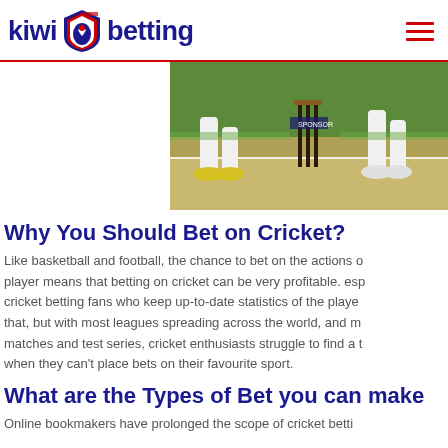kiwi betting
[Figure (photo): Cricket players at the wicket, showing legs and feet of players in white cricket gear on a cricket pitch with stumps visible]
Why You Should Bet on Cricket?
Like basketball and football, the chance to bet on the actions of a player means that betting on cricket can be very profitable. especially cricket betting fans who keep up-to-date statistics of the players. Not only that, but with most leagues spreading across the world, and many T20 matches and test series, cricket enthusiasts struggle to find a time when they can't place bets on their favourite sport.
What are the Types of Bet you can make
Online bookmakers have prolonged the scope of cricket betting